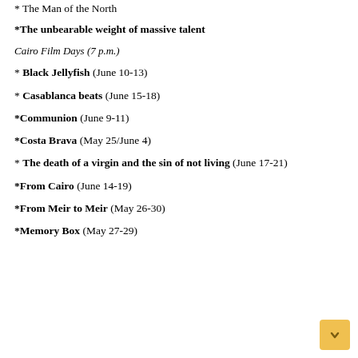* The Man of the North
*The unbearable weight of massive talent
Cairo Film Days (7 p.m.)
* Black Jellyfish (June 10-13)
* Casablanca beats (June 15-18)
*Communion (June 9-11)
*Costa Brava (May 25/June 4)
* The death of a virgin and the sin of not living (June 17-21)
*From Cairo (June 14-19)
*From Meir to Meir (May 26-30)
*Memory Box (May 27-29)